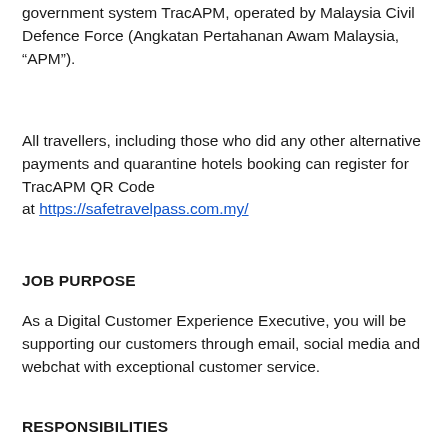entry registration and payment, facilitated by Malaysia government system TracAPM, operated by Malaysia Civil Defence Force (Angkatan Pertahanan Awam Malaysia, “APM”).
All travellers, including those who did any other alternative payments and quarantine hotels booking can register for TracAPM QR Code at https://safetravelpass.com.my/
JOB PURPOSE
As a Digital Customer Experience Executive, you will be supporting our customers through email, social media and webchat with exceptional customer service.
RESPONSIBILITIES